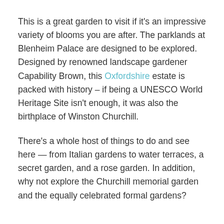This is a great garden to visit if it's an impressive variety of blooms you are after. The parklands at Blenheim Palace are designed to be explored. Designed by renowned landscape gardener Capability Brown, this Oxfordshire estate is packed with history – if being a UNESCO World Heritage Site isn't enough, it was also the birthplace of Winston Churchill.
There's a whole host of things to do and see here — from Italian gardens to water terraces, a secret garden, and a rose garden. In addition, why not explore the Churchill memorial garden and the equally celebrated formal gardens?